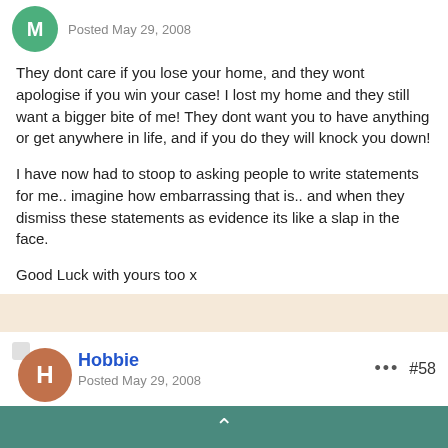Posted May 29, 2008
They dont care if you lose your home, and they wont apologise if you win your case! I lost my home and they still want a bigger bite of me! They dont want you to have anything or get anywhere in life, and if you do they will knock you down!
I have now had to stoop to asking people to write statements for me.. imagine how embarrassing that is.. and when they dismiss these statements as evidence its like a slap in the face.
Good Luck with yours too x
Hobbie
Posted May 29, 2008
#58
I remember when the DWP sent me a letter informing me of a visit at home to conduct an informal interview.